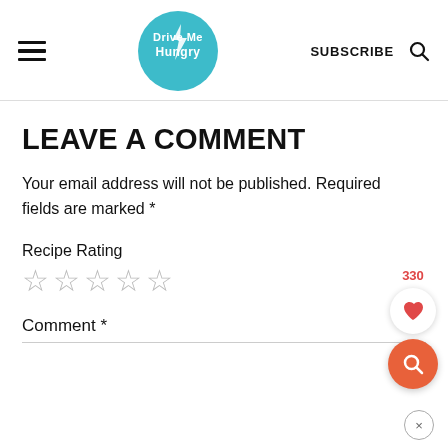Drive Me Hungry — SUBSCRIBE
LEAVE A COMMENT
Your email address will not be published. Required fields are marked *
Recipe Rating
☆☆☆☆☆
Comment *